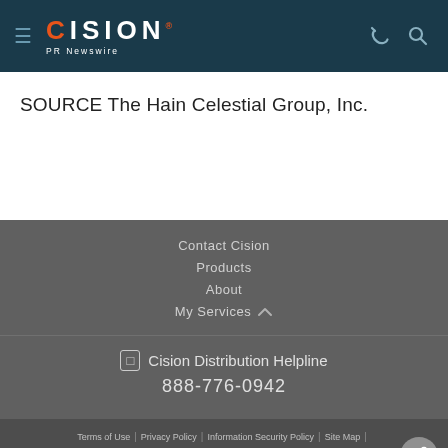CISION PR Newswire
SOURCE The Hain Celestial Group, Inc.
Contact Cision
Products
About
My Services
Cision Distribution Helpline
888-776-0942
Terms of Use | Privacy Policy | Information Security Policy | Site Map | RSS | Cookie Settings
Copyright © 2022 Cision US Inc.